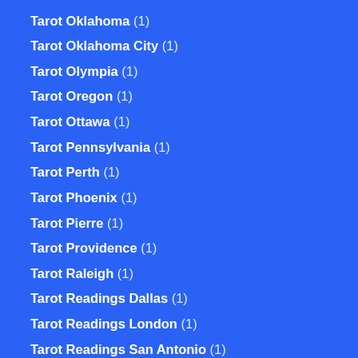Tarot Oklahoma (1)
Tarot Oklahoma City (1)
Tarot Olympia (1)
Tarot Oregon (1)
Tarot Ottawa (1)
Tarot Pennsylvania (1)
Tarot Perth (1)
Tarot Phoenix (1)
Tarot Pierre (1)
Tarot Providence (1)
Tarot Raleigh (1)
Tarot Readings Dallas (1)
Tarot Readings London (1)
Tarot Readings San Antonio (1)
Tarot Readings San Diego (1)
Tarot Readings San Jose (1)